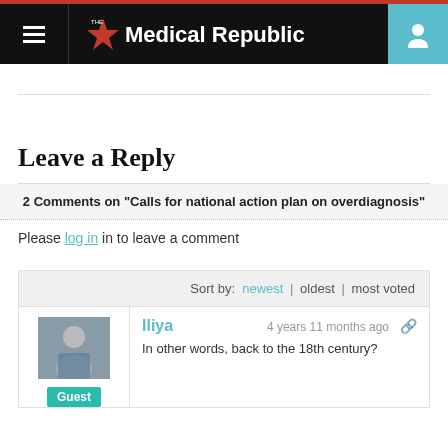The Medical Republic
Leave a Reply
2 Comments on "Calls for national action plan on overdiagnosis"
Please log in in to leave a comment
Sort by: newest | oldest | most voted
Iliya
4 years 11 months ago
In other words, back to the 18th century?